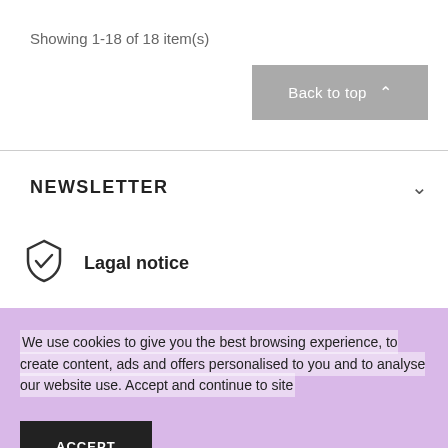Showing 1-18 of 18 item(s)
Back to top
NEWSLETTER
Lagal notice
We use cookies to give you the best browsing experience, to create content, ads and offers personalised to you and to analyse our website use. Accept and continue to site
ACCEPT